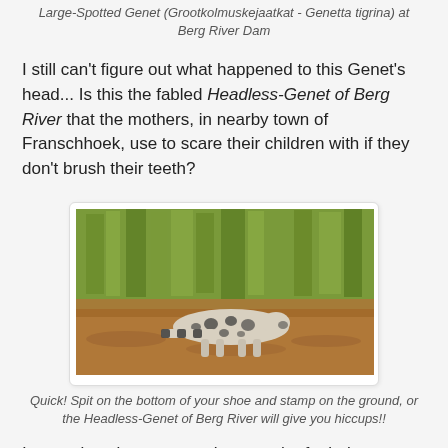Large-Spotted Genet (Grootkolmuskejaatkat - Genetta tigrina) at Berg River Dam
I still can't figure out what happened to this Genet's head... Is this the fabled Headless-Genet of Berg River that the mothers, in nearby town of Franschhoek, use to scare their children with if they don't brush their teeth?
[Figure (photo): A Large-Spotted Genet animal photographed in natural habitat with grass and reddish-brown ground]
Quick! Spit on the bottom of your shoe and stamp on the ground, or the Headless-Genet of Berg River will give you hiccups!!
It was also nice to get a photograph of a baby Porcupine. He